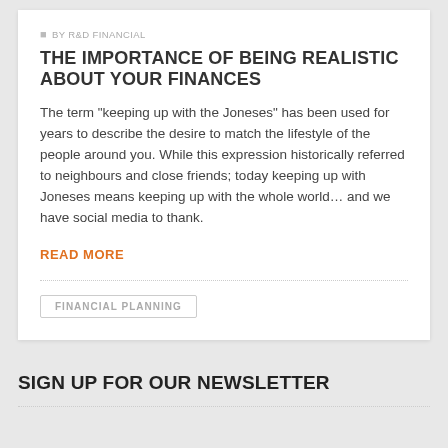BY R&D FINANCIAL
THE IMPORTANCE OF BEING REALISTIC ABOUT YOUR FINANCES
The term "keeping up with the Joneses" has been used for years to describe the desire to match the lifestyle of the people around you. While this expression historically referred to neighbours and close friends; today keeping up with Joneses means keeping up with the whole world… and we have social media to thank.
READ MORE
FINANCIAL PLANNING
SIGN UP FOR OUR NEWSLETTER